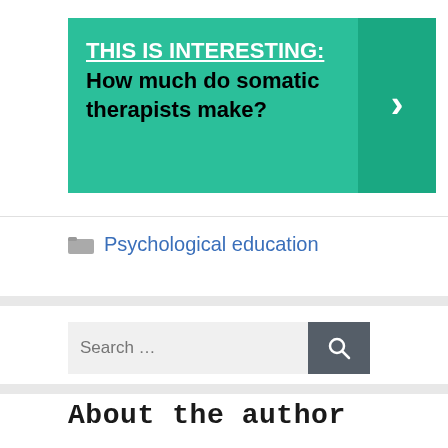[Figure (infographic): Green banner with bold text: THIS IS INTERESTING: How much do somatic therapists make? with a right-arrow chevron on darker green background on the right side.]
Psychological education
[Figure (screenshot): Search bar with placeholder text 'Search ...' and a dark grey search button with magnifying glass icon.]
About the author